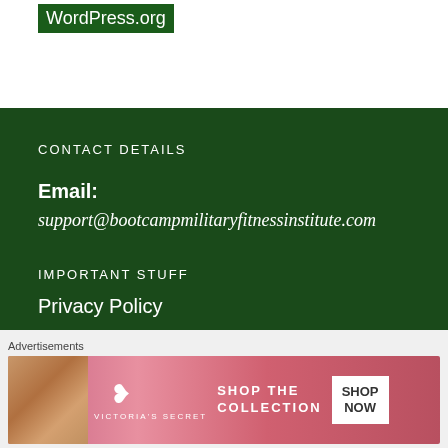WordPress.org
CONTACT DETAILS
Email: support@bootcampmilitaryfitnessinstitute.com
IMPORTANT STUFF
Privacy Policy
Terms & Conditions
[Figure (logo): Brilliantly logo with plus sign]
Advertisements
[Figure (photo): Victoria's Secret advertisement banner: SHOP THE COLLECTION with SHOP NOW button]